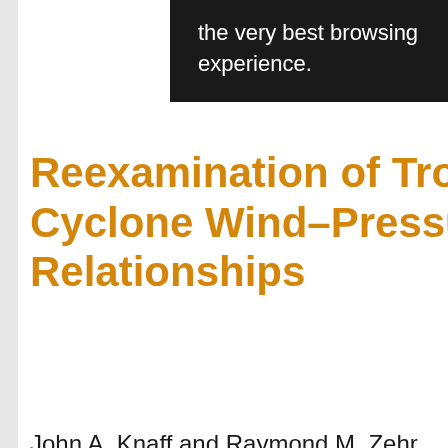the very best browsing experience.
Reexamination of Tropical Cyclone Wind–Pressure Relationships
John A. Knaff and Raymond M. Zehr
1. Introduction Possibly the most accurate and reliable measure of tropical cyclone (TC) intensity is the minimum sea level pressure (MSLP) either estimated from aircraft reconnaissance flight level or obtained via dire observation (surface or dropwindsonde). However, the destructive potential of TCs is better related to the maximum wind speed at or